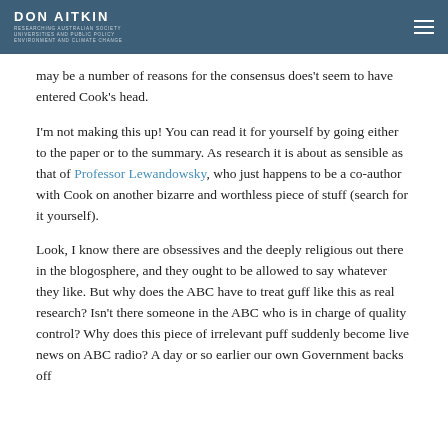DON AITKIN
may be a number of reasons for the consensus does't seem to have entered Cook’s head.
I’m not making this up! You can read it for yourself by going either to the paper or to the summary. As research it is about as sensible as that of Professor Lewandowsky, who just happens to be a co-author with Cook on another bizarre and worthless piece of stuff (search for it yourself).
Look, I know there are obsessives and the deeply religious out there in the blogosphere, and they ought to be allowed to say whatever they like. But why does the ABC have to treat guff like this as real research? Isn’t there someone in the ABC who is in charge of quality control? Why does this piece of irrelevant puff suddenly become live news on ABC radio? A day or so earlier our own Government backs off